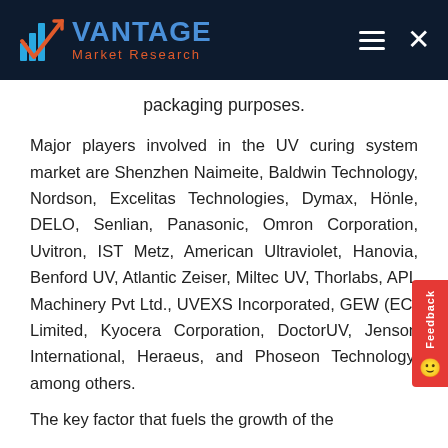VANTAGE Market Research
packaging purposes.
Major players involved in the UV curing system market are Shenzhen Naimeite, Baldwin Technology, Nordson, Excelitas Technologies, Dymax, Hönle, DELO, Senlian, Panasonic, Omron Corporation, Uvitron, IST Metz, American Ultraviolet, Hanovia, Benford UV, Atlantic Zeiser, Miltec UV, Thorlabs, APL Machinery Pvt Ltd., UVEXS Incorporated, GEW (EC) Limited, Kyocera Corporation, DoctorUV, Jenson International, Heraeus, and Phoseon Technology, among others.
The key factor that fuels the growth of the